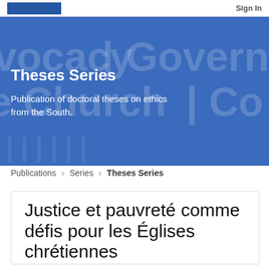Sign In
[Figure (screenshot): Hero banner with blue background showing large semi-transparent text: vocacy | Governa, Church | Com, with overlay text 'Theses Series' and subtitle 'Publication of doctoral theses on ethics from the South.']
Theses Series
Publication of doctoral theses on ethics from the South.
Publications › Series › Theses Series
Justice et pauvreté comme défis pour les Églises chrétiennes